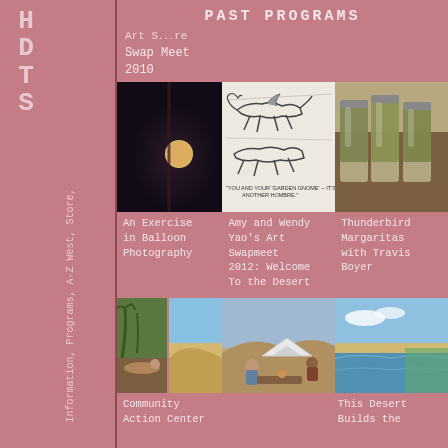PAST PROGRAMS
Art S...re
Swap Meet
2010
[Figure (photo): Dark night sky with moon]
[Figure (illustration): Cartoon sketch of animals, Amy and Wendy Yao Art Swapmeet]
[Figure (photo): Glass jars with liquid - Thunderbird Margaritas]
An Exercise
in Balloon
Photography
Amy and Wendy
Yao's Art
Swapmeet
2012: Welcome
To the Desert
Thunderbird
Margaritas
with Travis
Boyer
[Figure (photo): Community desert landscape photos]
[Figure (photo): Camping in desert scene]
[Figure (photo): Desert lake/water scene]
Community
Action Center
This Desert
Builds the